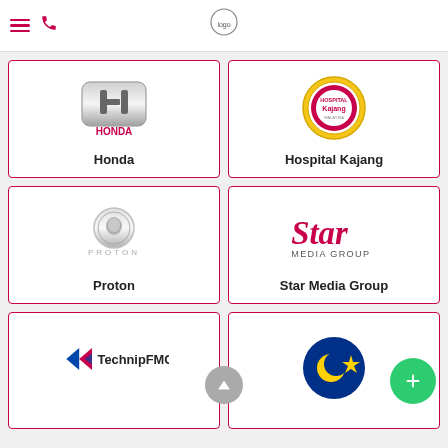Navigation header with hamburger menu, phone icon, and center logo
[Figure (logo): Honda logo with silver H emblem and red HONDA text]
Honda
[Figure (logo): Hospital Kajang circular badge logo in gold and red]
Hospital Kajang
[Figure (logo): Proton logo with silver tiger emblem and PROTON text]
Proton
[Figure (logo): Star Media Group logo with red Star text and MEDIA GROUP subtitle]
Star Media Group
[Figure (logo): TechnipFMC logo with blue and red arrow mark]
TechnipFMC
[Figure (logo): Malaysia flag circle with dark blue background and yellow star/crescent]